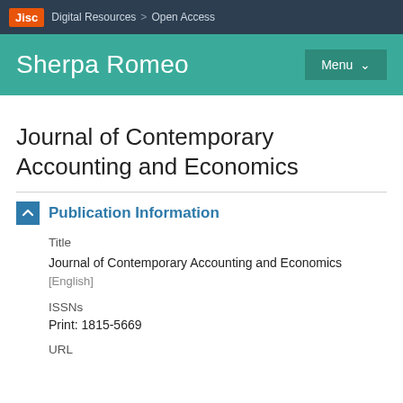Jisc | Digital Resources > Open Access
Sherpa Romeo
Journal of Contemporary Accounting and Economics
Publication Information
Title
Journal of Contemporary Accounting and Economics [English]
ISSNs
Print: 1815-5669
URL